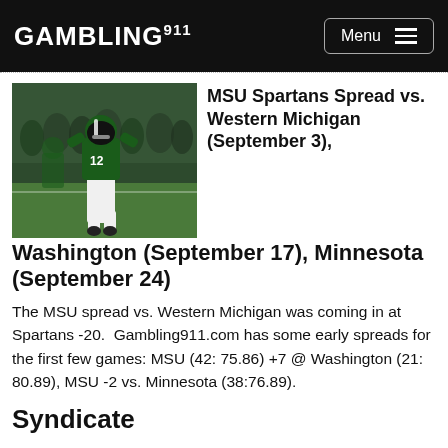GAMBLING911 Menu
[Figure (photo): Football player wearing number 12 jersey in green and white MSU Spartans uniform, celebrating on field with crowd in background]
MSU Spartans Spread vs. Western Michigan (September 3), Washington (September 17), Minnesota (September 24)
The MSU spread vs. Western Michigan was coming in at Spartans -20.  Gambling911.com has some early spreads for the first few games: MSU (42: 75.86) +7 @ Washington (21: 80.89), MSU -2 vs. Minnesota (38:76.89).
Syndicate